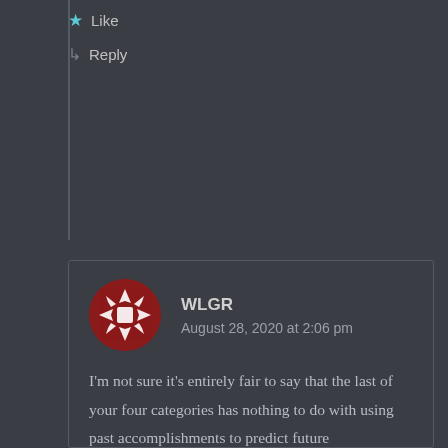Like
Reply
WLGR
August 28, 2020 at 2:06 pm
I'm not sure it's entirely fair to say that the last of your four categories has nothing to do with using past accomplishments to predict future performance; on the contrary, there are plenty of jobs (particularly in fundraising-heavy sectors like politics, media, nonprofits/NGOs, VC-heavy corporate startups, etc.) where the